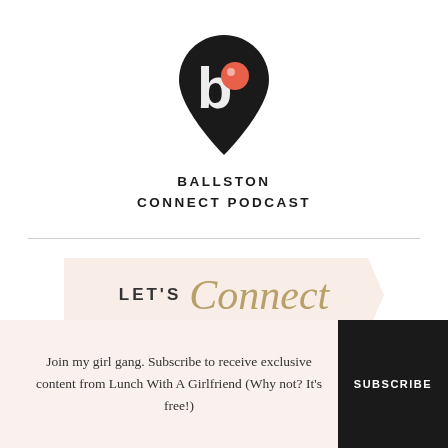[Figure (logo): Ballston Connect Podcast logo: a black map pin/location marker shape containing a stylized white lowercase letter 'b' with an orange/coral circle accent]
BALLSTON
CONNECT PODCAST
[Figure (infographic): LET'S Connect banner on a light pink/peach ribbon shape with 'LET'S' in gray sans-serif and 'Connect' in gold italic script]
Join my girl gang. Subscribe to receive exclusive content from Lunch With A Girlfriend (Why not? It's free!)
SUBSCRIBE